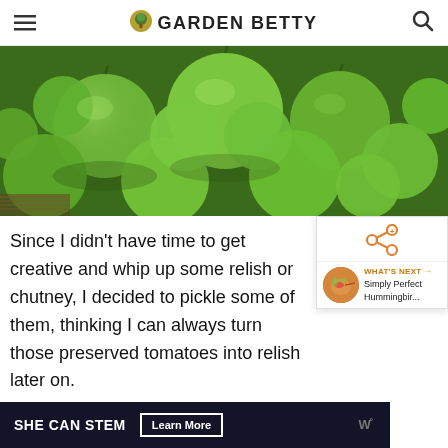GARDEN BETTY
[Figure (photo): Close-up photo of many green tomatoes piled together in a basket, vibrant green color with stems and leaves visible]
Since I didn't have time to get creative and whip up some relish or chutney, I decided to pickle some of them, thinking I can always turn those preserved tomatoes into relish later on.
[Figure (infographic): What's Next widget showing Simply Perfect Hummingbir... with a share icon and thumbnail]
[Figure (infographic): Advertisement banner: SHE CAN STEM with Learn More button]